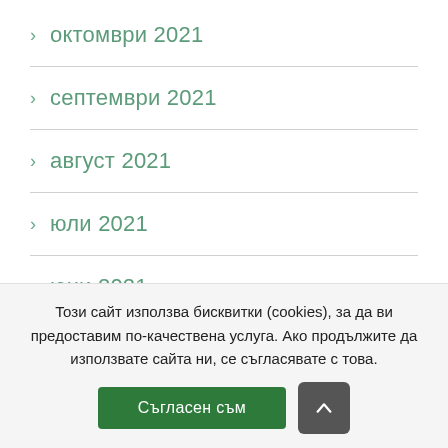> октомври 2021
> септември 2021
> август 2021
> юли 2021
> юни 2021
Този сайт използва бисквитки (cookies), за да ви предоставим по-качествена услуга. Ако продължите да използвате сайта ни, се съгласявате с това.
Съгласен съм